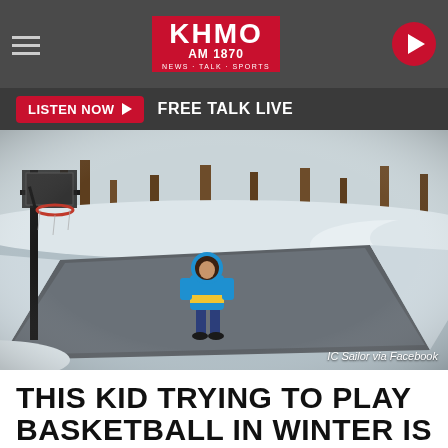KHMO AM 1870 NEWS · TALK · SPORTS
LISTEN NOW ▶  FREE TALK LIVE
[Figure (photo): A child in a blue and yellow winter jacket stands on a frozen outdoor basketball court that has been cleared of snow. A basketball hoop is visible on the left. Snow surrounds the cleared court area and trees are visible in the background.]
THIS KID TRYING TO PLAY BASKETBALL IN WINTER IS ALL